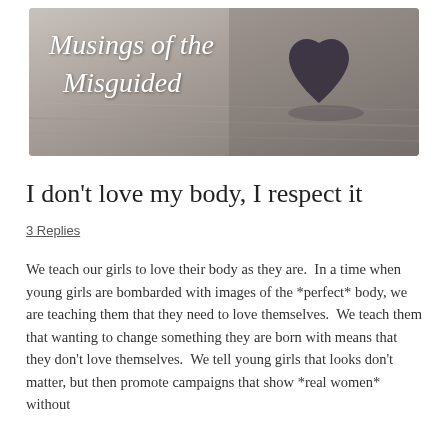[Figure (illustration): Blog header banner image showing a dark heart-shaped object on a light wooden surface with the cursive text 'Musings of the Misguided' overlaid in white on the left side.]
I don't love my body, I respect it
3 Replies
We teach our girls to love their body as they are.  In a time when young girls are bombarded with images of the *perfect* body, we are teaching them that they need to love themselves.  We teach them that wanting to change something they are born with means that they don't love themselves.  We tell young girls that looks don't matter, but then promote campaigns that show *real women* without